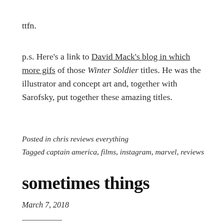ttfn.
p.s. Here's a link to David Mack's blog in which more gifs of those Winter Soldier titles. He was the illustrator and concept art and, together with Sarofsky, put together these amazing titles.
Posted in chris reviews everything
Tagged captain america, films, instagram, marvel, reviews
sometimes things
March 7, 2018